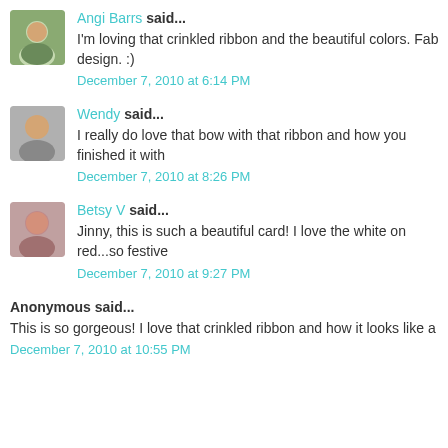Angi Barrs said...
I'm loving that crinkled ribbon and the beautiful colors. Fab design. :)
December 7, 2010 at 6:14 PM
Wendy said...
I really do love that bow with that ribbon and how you finished it with
December 7, 2010 at 8:26 PM
Betsy V said...
Jinny, this is such a beautiful card! I love the white on red...so festive
December 7, 2010 at 9:27 PM
Anonymous said...
This is so gorgeous! I love that crinkled ribbon and how it looks like a
December 7, 2010 at 10:55 PM